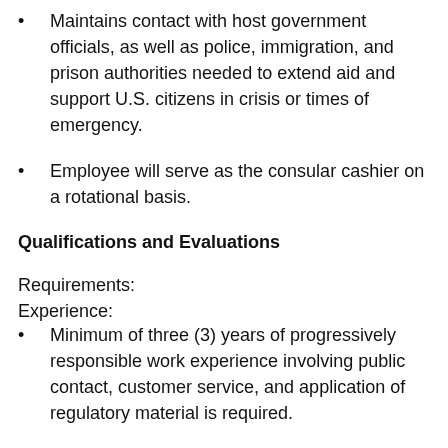Maintains contact with host government officials, as well as police, immigration, and prison authorities needed to extend aid and support U.S. citizens in crisis or times of emergency.
Employee will serve as the consular cashier on a rotational basis.
Qualifications and Evaluations
Requirements:
Experience:
Minimum of three (3) years of progressively responsible work experience involving public contact, customer service, and application of regulatory material is required.